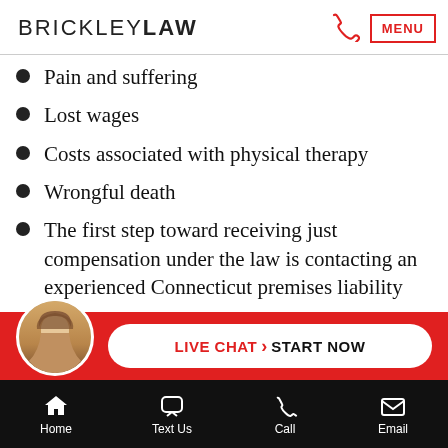BRICKLEY LAW  MENU
Pain and suffering
Lost wages
Costs associated with physical therapy
Wrongful death
The first step toward receiving just compensation under the law is contacting an experienced Connecticut premises liability lawyer.
[Figure (screenshot): Live chat widget with avatar and 'LIVE CHAT > START NOW' pill button on red background]
Home  Text Us  Call  Email